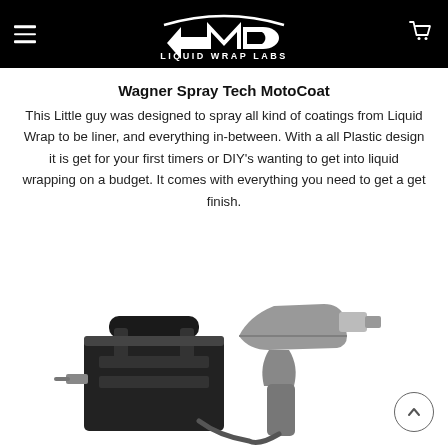Liquid Wrap Labs
Wagner Spray Tech MotoCoat
This Little guy was designed to spray all kind of coatings from Liquid Wrap to be liner, and everything in-between. With a all Plastic design it is get for your first timers or DIY's wanting to get into liquid wrapping on a budget. It comes with everything you need to get a get finish.
[Figure (photo): Wagner Spray Tech MotoCoat spray gun device shown from side angle, with black body and metallic spray gun attachment]